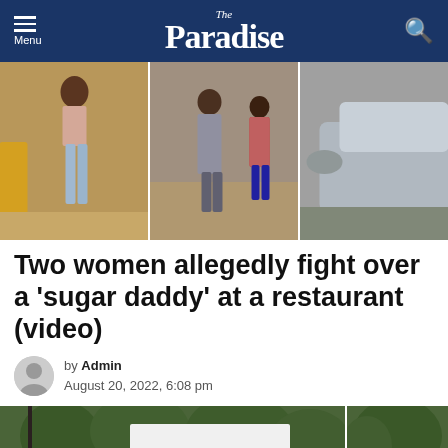The Paradise
[Figure (photo): Three-panel composite photo showing two women in a confrontation near vehicles on a street. Left panel: woman in light blue jeans. Middle panel: man in grey outfit with others. Right panel: side view of a silver car.]
Two women allegedly fight over a 'sugar daddy' at a restaurant (video)
by Admin
August 20, 2022, 6:08 pm
[Figure (photo): Two-panel screenshot from a video showing green trees and a person's head in the foreground against a white background.]